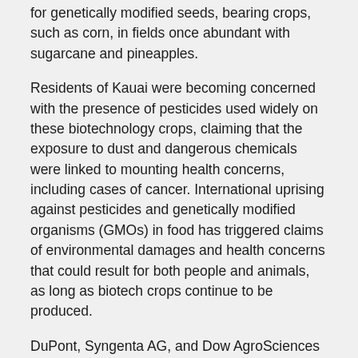for genetically modified seeds, bearing crops, such as corn, in fields once abundant with sugarcane and pineapples.
Residents of Kauai were becoming concerned with the presence of pesticides used widely on these biotechnology crops, claiming that the exposure to dust and dangerous chemicals were linked to mounting health concerns, including cases of cancer. International uprising against pesticides and genetically modified organisms (GMOs) in food has triggered claims of environmental damages and health concerns that could result for both people and animals, as long as biotech crops continue to be produced.
DuPont, Syngenta AG, and Dow AgroSciences are the three leading firms that reign over the genetically-altered crops on Hawaii's fertile landscape. These companies argue that biotech crops are “essential in boosting global food production and in improving environmental sustainability.”